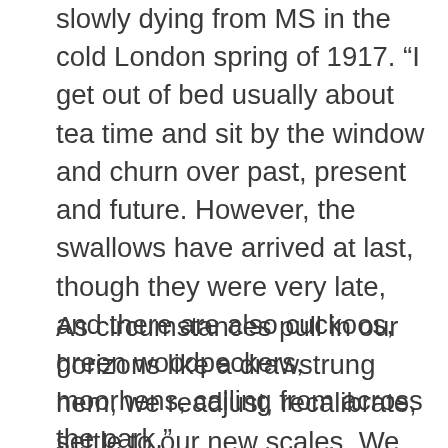slowly dying from MS in the cold London spring of 1917. “I get out of bed usually about tea time and sit by the window and churn over past, present and future. However, the swallows have arrived at last, though they were very late, and there are also cuckoos, green woodpeckers, moorhens, calling from across the park.”
As circumstances pull in our horizons like a drawstrung hem, we readjust, recalibrate, settle to our new scales. We might not respond as we think we ought. Cummings came to find that he was more enlivened by the birds at his window than by the presence of his infant daughter. But generally we will reach accommodation.
Kathleen Jamie has written about being penned in not by dire circumstance but – as most of us